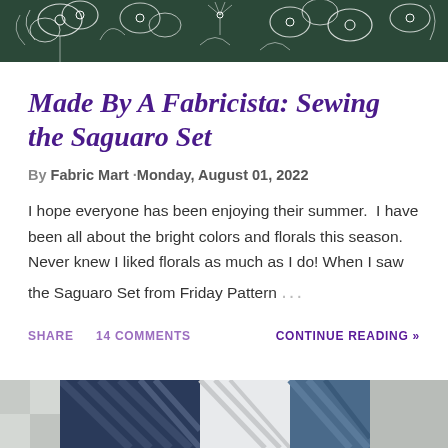[Figure (photo): Dark green floral fabric with white flower pattern at the top of the page]
Made By A Fabricista: Sewing the Saguaro Set
By Fabric Mart · Monday, August 01, 2022
I hope everyone has been enjoying their summer.  I have been all about the bright colors and florals this season.  Never knew I liked florals as much as I do! When I saw the Saguaro Set from Friday Pattern …
SHARE   14 COMMENTS   CONTINUE READING »
[Figure (photo): Folded fabric with blue, white and gray striped and patterned material at the bottom of the page]